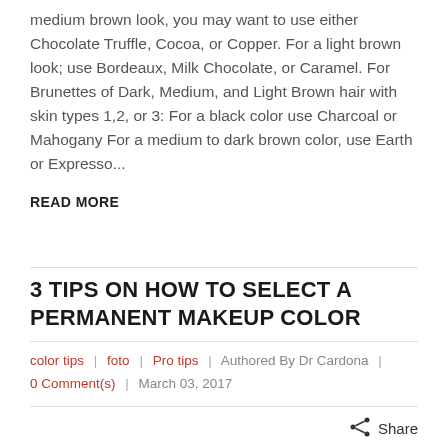medium brown look, you may want to use either Chocolate Truffle, Cocoa, or Copper. For a light brown look; use Bordeaux, Milk Chocolate, or Caramel. For Brunettes of Dark, Medium, and Light Brown hair with skin types 1,2, or 3: For a black color use Charcoal or Mahogany For a medium to dark brown color, use Earth or Expresso...
READ MORE
3 TIPS ON HOW TO SELECT A PERMANENT MAKEUP COLOR
color tips | foto | Pro tips | Authored By Dr Cardona | 0 Comment(s) | March 03, 2017
Share
How to Select Your Color As you know, color